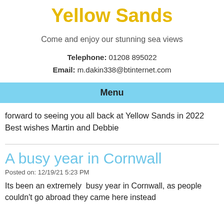Yellow Sands
Come and enjoy our stunning sea views
Telephone: 01208 895022
Email: m.dakin338@btinternet.com
Menu
forward to seeing you all back at Yellow Sands in 2022   Best wishes Martin and Debbie
A busy year in Cornwall
Posted on: 12/19/21 5:23 PM
Its been an extremely  busy year in Cornwall, as people couldn't go abroad they came here instead